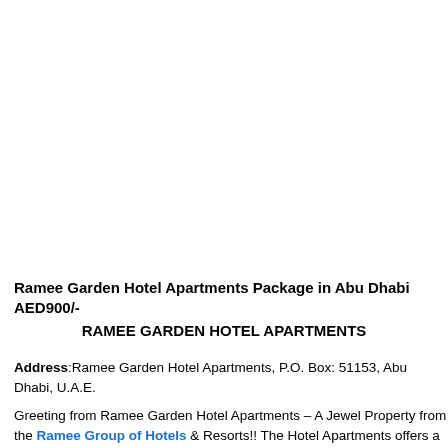Ramee Garden Hotel Apartments Package in Abu Dhabi AED900/-
RAMEE GARDEN HOTEL APARTMENTS
Address:Ramee Garden Hotel Apartments, P.O. Box: 51153, Abu Dhabi, U.A.E.
Greeting from Ramee Garden Hotel Apartments – A Jewel Property from the Ramee Group of Hotels & Resorts!! The Hotel Apartments offers a mix of fully furnished & spacious Two Bedroom Apartments, One